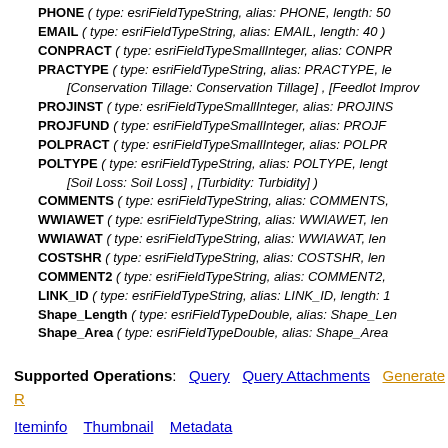PHONE ( type: esriFieldTypeString, alias: PHONE, length: 50
EMAIL ( type: esriFieldTypeString, alias: EMAIL, length: 40 )
CONPRACT ( type: esriFieldTypeSmallInteger, alias: CONPR
PRACTYPE ( type: esriFieldTypeString, alias: PRACTYPE, le [Conservation Tillage: Conservation Tillage] , [Feedlot Improv
PROJINST ( type: esriFieldTypeSmallInteger, alias: PROJINS
PROJFUND ( type: esriFieldTypeSmallInteger, alias: PROJF
POLPRACT ( type: esriFieldTypeSmallInteger, alias: POLPR
POLTYPE ( type: esriFieldTypeString, alias: POLTYPE, lengt [Soil Loss: Soil Loss] , [Turbidity: Turbidity] )
COMMENTS ( type: esriFieldTypeString, alias: COMMENTS,
WWIAWET ( type: esriFieldTypeString, alias: WWIAWET, len
WWIAWAT ( type: esriFieldTypeString, alias: WWIAWAT, len
COSTSHR ( type: esriFieldTypeString, alias: COSTSHR, len
COMMENT2 ( type: esriFieldTypeString, alias: COMMENT2,
LINK_ID ( type: esriFieldTypeString, alias: LINK_ID, length: 1
Shape_Length ( type: esriFieldTypeDouble, alias: Shape_Len
Shape_Area ( type: esriFieldTypeDouble, alias: Shape_Area
Supported Operations: Query  Query Attachments  Generate R
Iteminfo  Thumbnail  Metadata